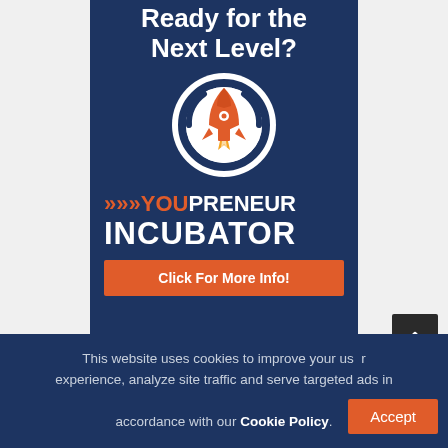Ready for the Next Level?
[Figure (logo): Circular logo with white background and dark blue ring, containing an orange rocket ship icon pointing upward]
>>>YOU PRENEUR INCUBATOR
Click For More Info!
This website uses cookies to improve your user experience, analyze site traffic and serve targeted ads in accordance with our Cookie Policy.
Accept